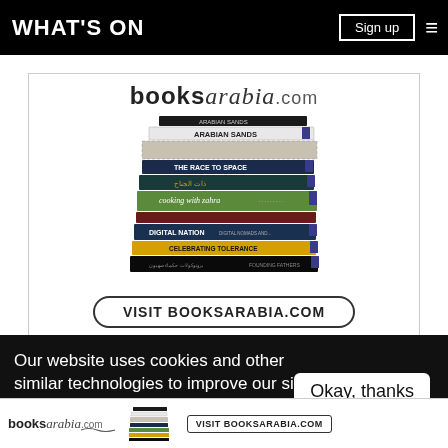WHAT'S ON | Sign up | ☰
[Figure (photo): Advertisement for booksarabia.com showing a stack of books including Arabian Sands, The Race to Space, Cooking with Zahra, Digital Nation, Celebrating Tolerance, and other titles, with a 'VISIT BOOKSARABIA.COM' button]
EDITOR'S PICKS
Our website uses cookies and other similar technologies to improve our site and your online experience. By continuing to use our website you conse... our pr...
[Figure (photo): Small booksarabia.com banner ad at the bottom with logo, book stack image, and VISIT BOOKSARABIA.COM button]